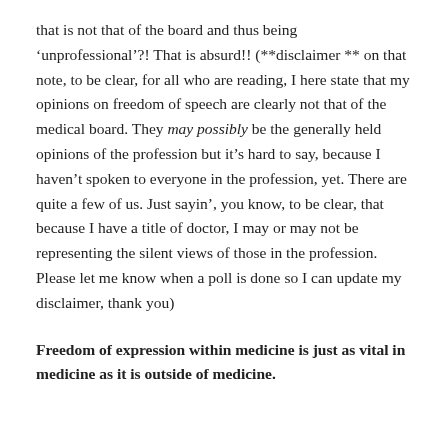that is not that of the board and thus being 'unprofessional'?! That is absurd!! (**disclaimer ** on that note, to be clear, for all who are reading, I here state that my opinions on freedom of speech are clearly not that of the medical board. They may possibly be the generally held opinions of the profession but it's hard to say, because I haven't spoken to everyone in the profession, yet. There are quite a few of us. Just sayin', you know, to be clear, that because I have a title of doctor, I may or may not be representing the silent views of those in the profession. Please let me know when a poll is done so I can update my disclaimer, thank you)
Freedom of expression within medicine is just as vital in medicine as it is outside of medicine.